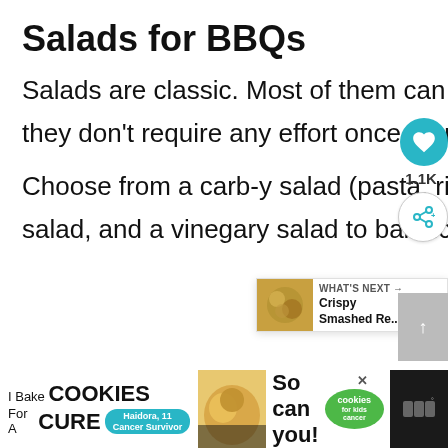Salads for BBQs
Salads are classic. Most of them can be made ahead of time and they don't require any effort once you arrive!
Choose from a carb-y salad (pasta, rice, potato), a creamy fruit salad, and a vinegary salad to balance the flavors out.
[Figure (infographic): Heart/like button (teal circle with heart icon), share button, 1.1K count, What's Next panel showing Crispy Smashed Re... with food photo, scroll-to-top button]
[Figure (infographic): Advertisement banner: I Bake COOKIES For A CURE - So can you! with cookies for kids cancer logo. Bottom bar with dark background.]